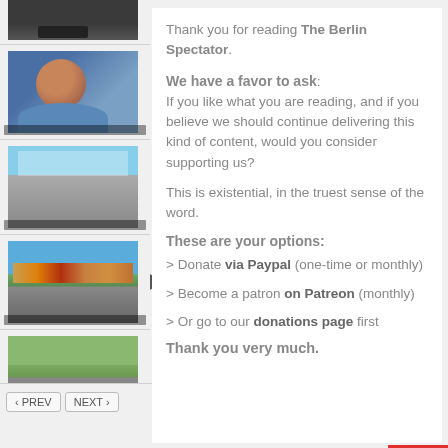[Figure (photo): Partial top thumbnail - dark image]
[Figure (photo): Thumbnail of a woman with short brown hair, blue background]
[Figure (photo): Thumbnail of a street scene]
[Figure (photo): Thumbnail of a European town square with colorful buildings]
[Figure (photo): Thumbnail of people walking on a tree-lined street]
Thank you for reading The Berlin Spectator.
We have a favor to ask: If you like what you are reading, and if you believe we should continue delivering this kind of content, would you consider supporting us?
This is existential, in the truest sense of the word.
These are your options:
> Donate via Paypal (one-time or monthly)
> Become a patron on Patreon (monthly)
> Or go to our donations page first
Thank you very much.